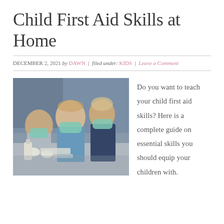Child First Aid Skills at Home
DECEMBER 2, 2021 by DAWN | filed under: KIDS | Leave a Comment
[Figure (photo): Three children wearing blue-green surgical masks and white gloves, appearing to practice first aid or medical procedures on a table with medical supplies.]
Do you want to teach your child first aid skills? Here is a complete guide on essential skills you should equip your children with.